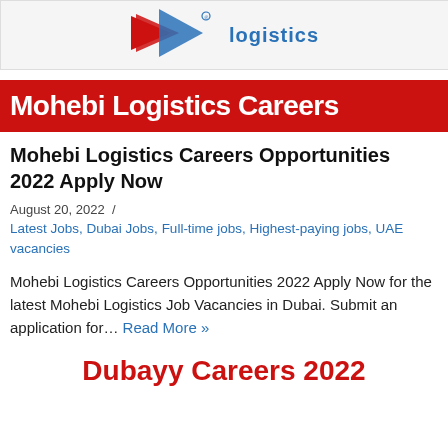[Figure (logo): Mohebi Logistics logo with red/blue arrow shapes and 'logistics' text in blue]
Mohebi Logistics Careers
Mohebi Logistics Careers Opportunities 2022 Apply Now
August 20, 2022  /
Latest Jobs, Dubai Jobs, Full-time jobs, Highest-paying jobs, UAE vacancies
Mohebi Logistics Careers Opportunities 2022 Apply Now for the latest Mohebi Logistics Job Vacancies in Dubai. Submit an application for… Read More »
Dubayy Careers 2022